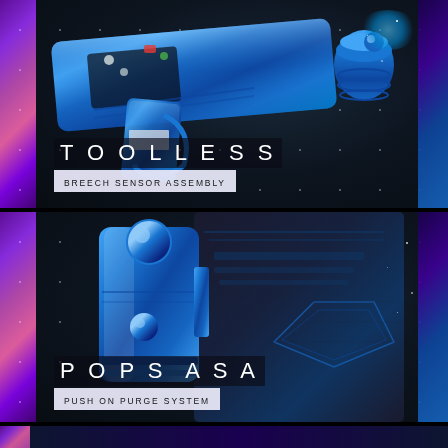[Figure (photo): Close-up photo of a metallic blue paintball/airsoft marker component (breech sensor assembly) against a dark background with purple/pink galaxy-style edge decoration on the left and blue edge on the right. White text overlaid: 'TOOLLESS' in large spaced letters and 'BREECH SENSOR ASSEMBLY' in a white bar below.]
TOOLLESS
BREECH SENSOR ASSEMBLY
[Figure (photo): Close-up photo of a metallic blue POPS ASA (Push On Purge System Air Source Adapter) component with a ball detent, set against a dark textured plate with geometric engravings and a dark background with purple/pink galaxy-style edge decoration.]
POPS ASA
PUSH ON PURGE SYSTEM
[Figure (photo): Partial view of another component panel at the very bottom of the page, mostly cut off, with purple/blue galaxy edge decoration visible.]